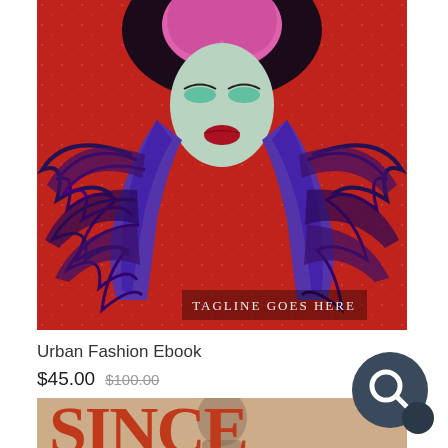[Figure (illustration): Urban fashion book cover with a dramatic figure in pink hair, purple feathered outfit, and gloves on red glittery background. Text overlaid: 'TAGLINE GOES HERE']
Urban Fashion Ebook
$45.00 $100.00
[Figure (illustration): Book cover showing large red text 'SINCE I MET' on a tan/beige background]
[Figure (illustration): Dark navy/slate search icon (magnifying glass) in a circular badge, bottom right corner]